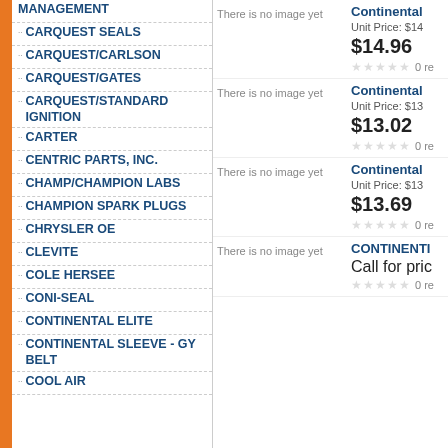MANAGEMENT
CARQUEST SEALS
CARQUEST/CARLSON
CARQUEST/GATES
CARQUEST/STANDARD IGNITION
CARTER
CENTRIC PARTS, INC.
CHAMP/CHAMPION LABS
CHAMPION SPARK PLUGS
CHRYSLER OE
CLEVITE
COLE HERSEE
CONI-SEAL
CONTINENTAL ELITE
CONTINENTAL SLEEVE - GY BELT
COOL AIR
There is no image yet — Continental — Unit Price: $14 — $14.96 — 0 reviews
There is no image yet — Continental — Unit Price: $13 — $13.02 — 0 reviews
There is no image yet — Continental — Unit Price: $13 — $13.69 — 0 reviews
There is no image yet — CONTINENTAL SLEEVE - GY BELT — Call for price — 0 reviews